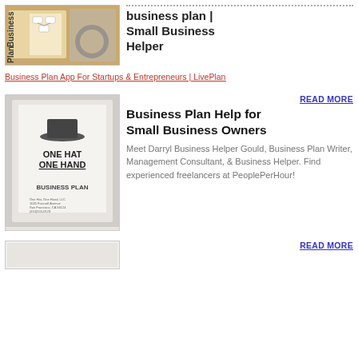[Figure (photo): Photo of a business plan document with a flowchart and glasses on top]
business plan | Small Business Helper
Business Plan App For Startups & Entrepreneurs | LivePlan
READ MORE
[Figure (photo): Image of a business plan document titled 'One Hat One Hand Business Plan']
Business Plan Help for Small Business Owners
Meet Darryl Business Helper Gould, Business Plan Writer, Management Consultant, & Business Helper. Find experienced freelancers at PeoplePerHour!
[Figure (photo): Partial image at bottom]
READ MORE